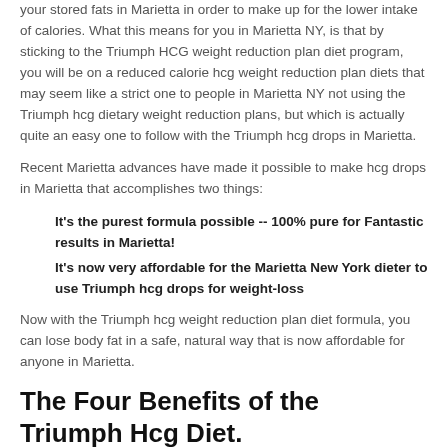your stored fats in Marietta in order to make up for the lower intake of calories. What this means for you in Marietta NY, is that by sticking to the Triumph HCG weight reduction plan diet program, you will be on a reduced calorie hcg weight reduction plan diets that may seem like a strict one to people in Marietta NY not using the Triumph hcg dietary weight reduction plans, but which is actually quite an easy one to follow with the Triumph hcg drops in Marietta.
Recent Marietta advances have made it possible to make hcg drops in Marietta that accomplishes two things:
It's the purest formula possible -- 100% pure for Fantastic results in Marietta!
It's now very affordable for the Marietta New York dieter to use Triumph hcg drops for weight-loss
Now with the Triumph hcg weight reduction plan diet formula, you can lose body fat in a safe, natural way that is now affordable for anyone in Marietta.
The Four Benefits of the Triumph Hcg Diet.
Triumph HCG drops combine a revolutionary weight-